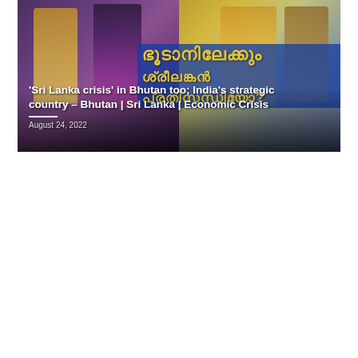[Figure (photo): Photo of Bhutanese cultural dancers in traditional yellow and multicolor costumes, with a woman in maroon shawl in foreground, and a blue banner with Malayalam script text in the background. Overlaid with article headline and date.]
'Sri Lanka crisis' in Bhutan too; India's strategic country – Bhutan | Sri Lanka | Economic Crisis
August 24, 2022